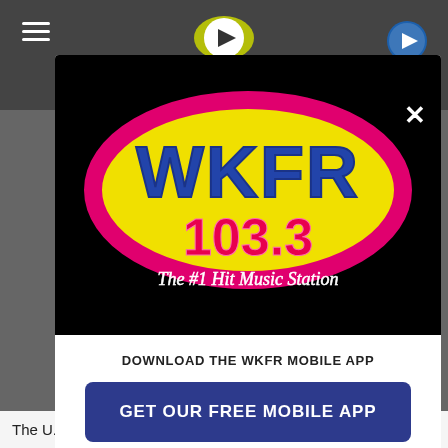[Figure (screenshot): Screenshot of a website with a modal popup overlay showing the WKFR 103.3 radio station app promotion. The background shows a dark website header with hamburger menu and play buttons. A modal dialog has a black upper section with the WKFR 103.3 'The #1 Hit Music Station' logo, and a white lower section with a 'DOWNLOAD THE WKFR MOBILE APP' heading, a blue 'GET OUR FREE MOBILE APP' button, and 'Also listen on: amazon alexa' text.]
The U.S. Department of Agriculture says the critical